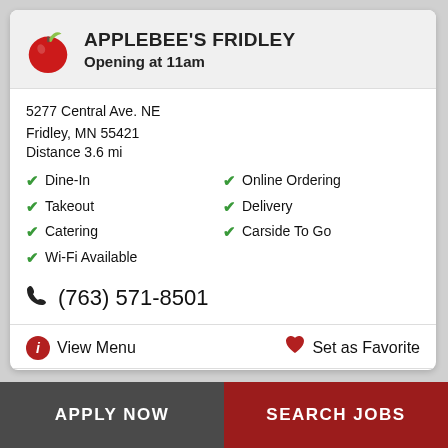APPLEBEE'S FRIDLEY
Opening at 11am
5277 Central Ave. NE
Fridley, MN 55421
Distance 3.6 mi
Dine-In
Takeout
Catering
Wi-Fi Available
Online Ordering
Delivery
Carside To Go
(763) 571-8501
View Menu
Set as Favorite
DIRECTIONS
START ORDER
APPLY NOW
SEARCH JOBS